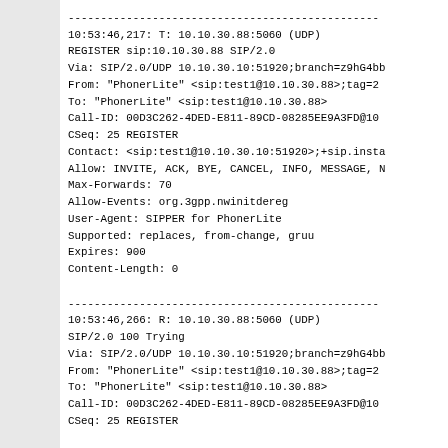------------------------------------------------
10:53:46,217: T: 10.10.30.88:5060 (UDP)
REGISTER sip:10.10.30.88 SIP/2.0
Via: SIP/2.0/UDP 10.10.30.10:51920;branch=z9hG4bb
From: "PhonerLite" <sip:test1@10.10.30.88>;tag=2
To: "PhonerLite" <sip:test1@10.10.30.88>
Call-ID: 00D3C262-4DED-E811-89CD-08285EE9A3FD@10
CSeq: 25 REGISTER
Contact: <sip:test1@10.10.30.10:51920>;+sip.insta
Allow: INVITE, ACK, BYE, CANCEL, INFO, MESSAGE, N
Max-Forwards: 70
Allow-Events: org.3gpp.nwinitdereg
User-Agent: SIPPER for PhonerLite
Supported: replaces, from-change, gruu
Expires: 900
Content-Length: 0
------------------------------------------------
10:53:46,266: R: 10.10.30.88:5060 (UDP)
SIP/2.0 100 Trying
Via: SIP/2.0/UDP 10.10.30.10:51920;branch=z9hG4bb
From: "PhonerLite" <sip:test1@10.10.30.88>;tag=2
To: "PhonerLite" <sip:test1@10.10.30.88>
Call-ID: 00D3C262-4DED-E811-89CD-08285EE9A3FD@10
CSeq: 25 REGISTER